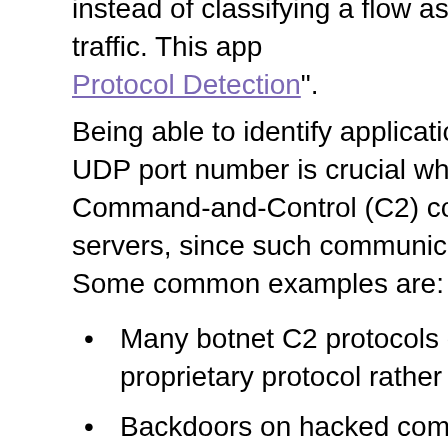instead of classifying a flow as "VoIP" cap SIP, Skype, RTP or MGCP traffic. This app Protocol Detection".
Being able to identify application layer protocols beyond UDP port number is crucial when analyzing Command-and-Control (C2) communications servers, since such communication often uses. Some common examples are:
Many botnet C2 protocols communicate using a proprietary protocol rather than HTTP
Backdoors on hacked computers and running a standard service like SSH on a port other than
More advanced backdoors use port knocking or a protocol on a standard port (SYNful kn
This means that by analyzing network traff